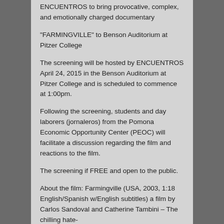ENCUENTROS to bring provocative, complex, and emotionally charged documentary
“FARMINGVILLE” to Benson Auditorium at Pitzer College
The screening will be hosted by ENCUENTROS April 24, 2015 in the Benson Auditorium at Pitzer College and is scheduled to commence at 1:00pm.
Following the screening, students and day laborers (jornaleros) from the Pomona Economic Opportunity Center (PEOC) will facilitate a discussion regarding the film and reactions to the film.
The screening if FREE and open to the public.
About the film: Farmingville (USA, 2003, 1:18 English/Spanish w/English subtitles) a film by Carlos Sandoval and Catherine Tambini – The chilling hate-